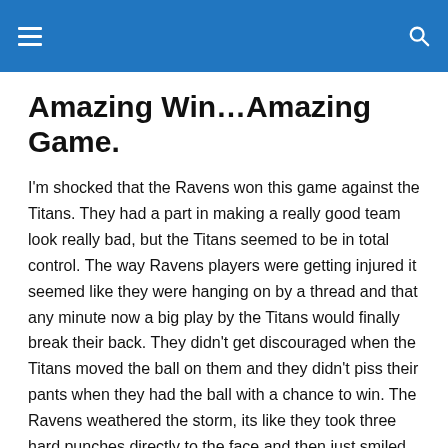Amazing Win…Amazing Game.
I'm shocked that the Ravens won this game against the Titans.  They had a part in making a really good team look really bad, but the Titans seemed to be in total control.  The way Ravens players were getting injured it seemed like they were hanging on by a thread and that any minute now a big play by the Titans would finally break their back.  They didn't get discouraged when the Titans moved the ball on them and they didn't piss their pants when they had the ball with a chance to win.  The Ravens weathered the storm, its like they took three hard punches directly to the face and then just smiled at them.  It had to be frustrating to the Titans to see the game slowly slip away